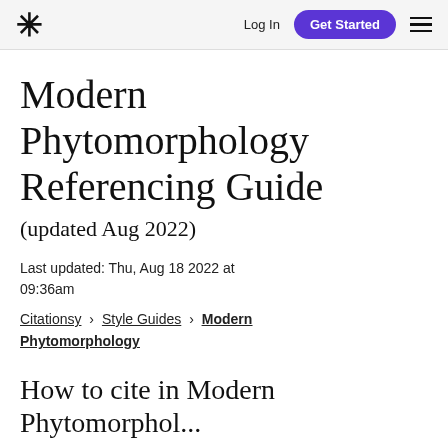* | Log In | Get Started | ≡
Modern Phytomorphology Referencing Guide
(updated Aug 2022)
Last updated: Thu, Aug 18 2022 at 09:36am
Citationsy › Style Guides › Modern Phytomorphology
How to cite in Modern Phytomorphology